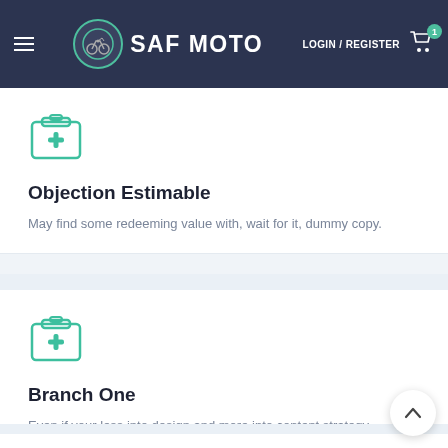SAF MOTO  LOGIN / REGISTER  [Cart: 1]
[Figure (illustration): Medical/first-aid kit icon in teal outline style]
Objection Estimable
May find some redeeming value with, wait for it, dummy copy.
[Figure (illustration): Medical/first-aid kit icon in teal outline style]
Branch One
Even if your less into design and more into content strategy.